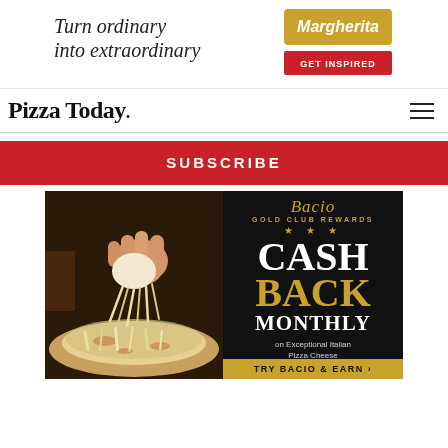[Figure (illustration): Banner ad: 'Turn ordinary into extraordinary' with Margherita logo and 'GET INSPIRED' button]
Pizza Today.
SUBSCRIBE
[Figure (illustration): Bacio Gold Club Rewards advertisement showing a hand pulling mozzarella cheese over a pizza, with text: CASH BACK MONTHLY on Exceptional Italian Pizza Cheese, TRY BACIO & EARN]